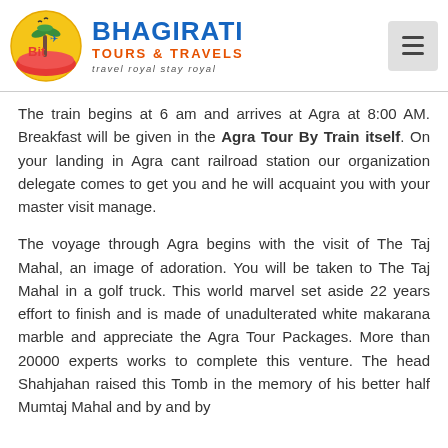[Figure (logo): Bhagirati Tours & Travels logo with circular emblem showing palm tree and waves, company name in blue, tagline 'travel royal stay royal']
The train begins at 6 am and arrives at Agra at 8:00 AM. Breakfast will be given in the Agra Tour By Train itself. On your landing in Agra cant railroad station our organization delegate comes to get you and he will acquaint you with your master visit manage.
The voyage through Agra begins with the visit of The Taj Mahal, an image of adoration. You will be taken to The Taj Mahal in a golf truck. This world marvel set aside 22 years effort to finish and is made of unadulterated white makarana marble and appreciate the Agra Tour Packages. More than 20000 experts works to complete this venture. The head Shahjahan raised this Tomb in the memory of his better half Mumtaj Mahal and by and by